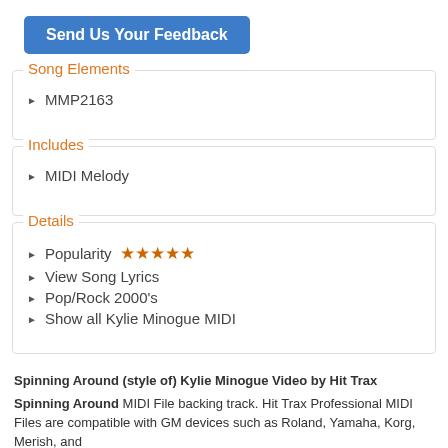[Figure (other): Blue button labeled 'Send Us Your Feedback']
Song Elements
MMP2163
Includes
MIDI Melody
Details
Popularity ★★★★★
View Song Lyrics
Pop/Rock 2000's
Show all Kylie Minogue MIDI
Spinning Around (style of) Kylie Minogue Video by Hit Trax
Spinning Around MIDI File backing track. Hit Trax Professional MIDI Files are compatible with GM devices such as Roland, Yamaha, Korg, Merish, and Singer MIDI Files are the actually...